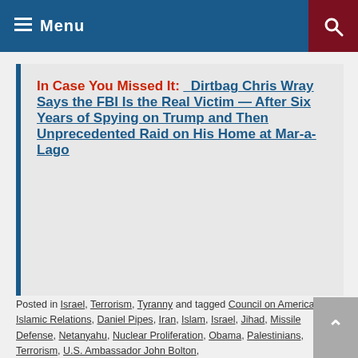Menu
In Case You Missed It: Dirtbag Chris Wray Says the FBI Is the Real Victim — After Six Years of Spying on Trump and Then Unprecedented Raid on His Home at Mar-a-Lago
Posted in Israel, Terrorism, Tyranny and tagged Council on American-Islamic Relations, Daniel Pipes, Iran, Islam, Israel, Jihad, Missile Defense, Netanyahu, Nuclear Proliferation, Obama, Palestinians, Terrorism, U.S. Ambassador John Bolton,